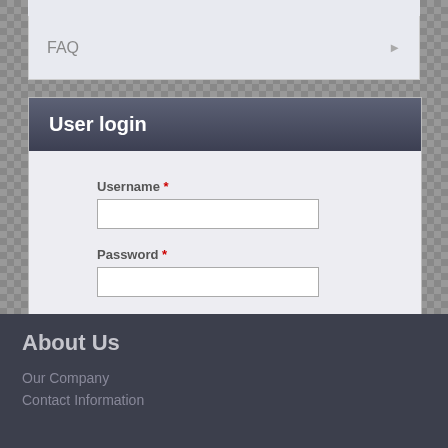FAQ
User login
Username *
Password *
Request new password
Log in
About Us
Our Company
Contact Information